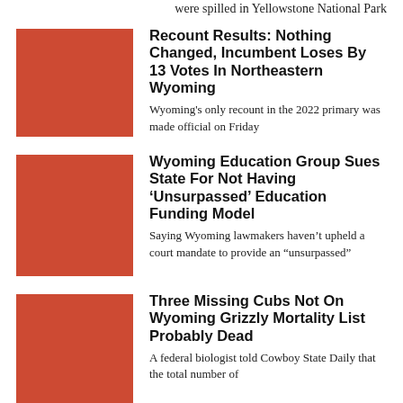were spilled in Yellowstone National Park
[Figure (photo): Red square thumbnail image for Recount Results article]
Recount Results: Nothing Changed, Incumbent Loses By 13 Votes In Northeastern Wyoming
Wyoming's only recount in the 2022 primary was made official on Friday
[Figure (photo): Red square thumbnail image for Wyoming Education Group article]
Wyoming Education Group Sues State For Not Having ‘Unsurpassed’ Education Funding Model
Saying Wyoming lawmakers haven’t upheld a court mandate to provide an “unsurpassed”
[Figure (photo): Red square thumbnail image for Three Missing Cubs article]
Three Missing Cubs Not On Wyoming Grizzly Mortality List Probably Dead
A federal biologist told Cowboy State Daily that the total number of